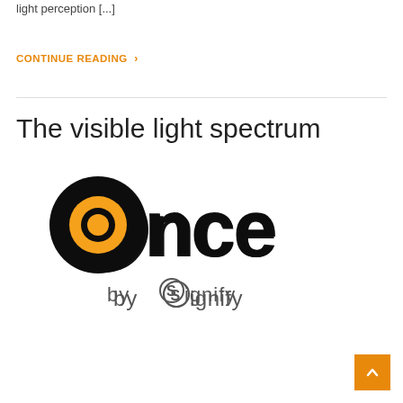light perception [...]
CONTINUE READING >
The visible light spectrum
[Figure (logo): ONCE by Signify logo — 'once' in large bold black letters with an orange dot in the 'o', followed by 'by (S)ignify' in dark gray below]
[Figure (other): Orange back-to-top arrow button in bottom right corner]